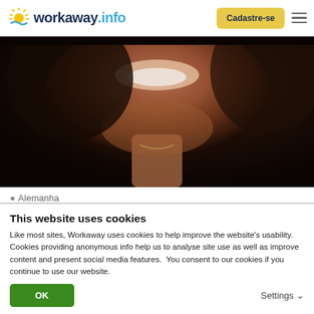[Figure (logo): Workaway.info logo with sun icon in yellow and blue]
Cadastre-se
[Figure (photo): Close-up photo of a smiling woman, dark background, cropped to neck/face area]
Alemanha
Come and help me in the house and garden. Tittmoning, Germany.
★★★★★ (5)
This website uses cookies
Like most sites, Workaway uses cookies to help improve the website's usability. Cookies providing anonymous info help us to analyse site use as well as improve content and present social media features.  You consent to our cookies if you continue to use our website.
OK
Settings